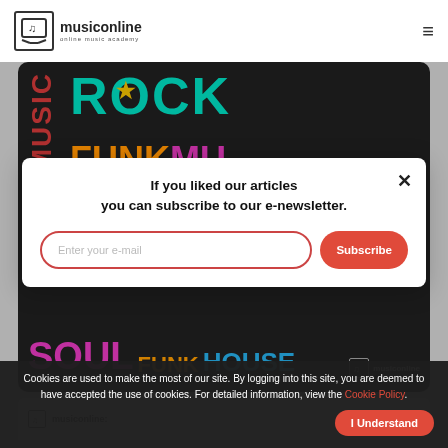musiconline — online music academy
[Figure (illustration): Dark background banner with colorful music genre text: ROCK, FUNK, MU, SOUL, HOUSE in various bright colors including teal, orange, red, gold, green, magenta. A gold star in the word ROCK. MusicOnline logo in bottom right.]
If you liked our articles you can subscribe to our e-newsletter.
Enter your e-mail
Subscribe
Cookies are used to make the most of our site. By logging into this site, you are deemed to have accepted the use of cookies. For detailed information, view the Cookie Policy.
I Understand